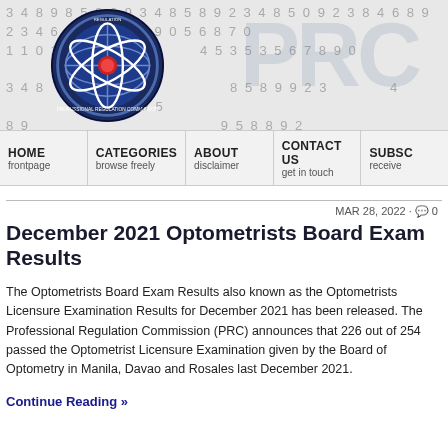[Figure (logo): PRC (Professional Regulation Commission) website header banner with PRC logo/seal on left, large 'PRC' text watermark and 'Board E' text on right, background of random numbers]
HOME frontpage | CATEGORIES browse freely | ABOUT disclaimer | CONTACT US get in touch | SUBSC receive
MAR 28, 2022 · 0
December 2021 Optometrists Board Exam Results
The Optometrists Board Exam Results also known as the Optometrists Licensure Examination Results for December 2021 has been released. The Professional Regulation Commission (PRC) announces that 226 out of 254 passed the Optometrist Licensure Examination given by the Board of Optometry in Manila, Davao and Rosales last December 2021.
Continue Reading »